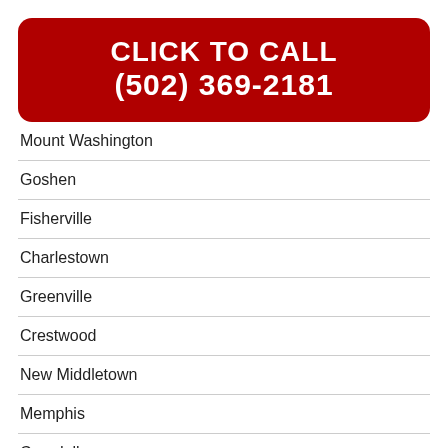CLICK TO CALL (502) 369-2181
Mount Washington
Goshen
Fisherville
Charlestown
Greenville
Crestwood
New Middletown
Memphis
Crandall
West Point
Buckner
Borden
Eastwood
New Salisbury